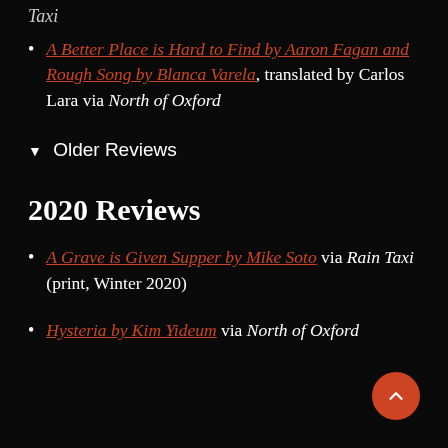Taxi
A Better Place is Hard to Find by Aaron Fagan and Rough Song by Blanca Varela, translated by Carlos Lara via North of Oxford
▼ Older Reviews
2020 Reviews
A Grave is Given Supper by Mike Soto via Rain Taxi (print, Winter 2020)
Hysteria by Kim Yideum via North of Oxford